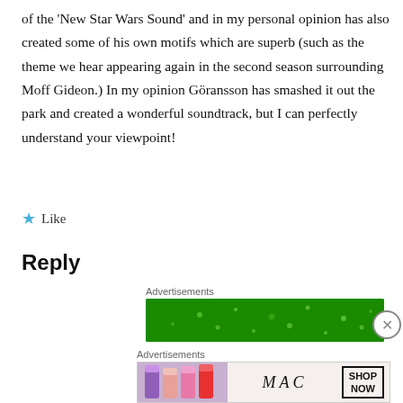of the 'New Star Wars Sound' and in my personal opinion has also created some of his own motifs which are superb (such as the theme we hear appearing again in the second season surrounding Moff Gideon.) In my opinion Göransson has smashed it out the park and created a wonderful soundtrack, but I can perfectly understand your viewpoint!
★ Like
Reply
Advertisements
[Figure (illustration): Green advertisement banner with small white dots/sparkles pattern]
Advertisements
[Figure (illustration): MAC Cosmetics advertisement showing colorful lipsticks on left, MAC logo in center, and SHOP NOW button on right]